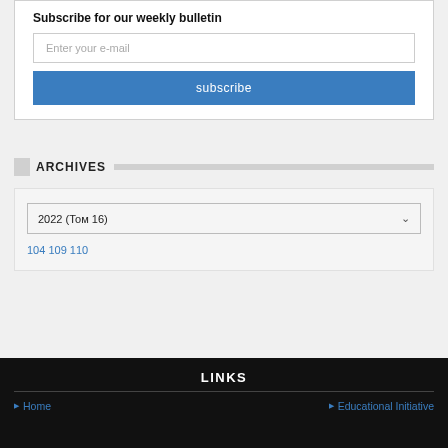Subscribe for our weekly bulletin
Enter your e-mail
subscribe
ARCHIVES
2022 (Том 16)
104 109 110
LINKS
Home
Educational Initiative